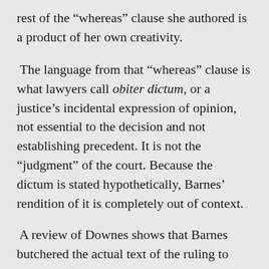rest of the “whereas” clause she authored is a product of her own creativity.
The language from that “whereas” clause is what lawyers call obiter dictum, or a justice’s incidental expression of opinion, not essential to the decision and not establishing precedent. It is not the “judgment” of the court. Because the dictum is stated hypothetically, Barnes’ rendition of it is completely out of context.
A review of Downes shows that Barnes butchered the actual text of the ruling to reach the “racist” result upon which she grounded